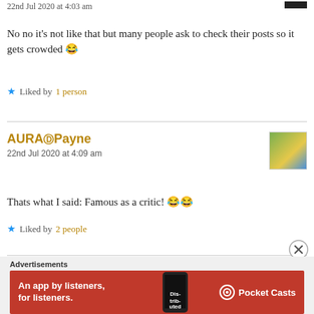22nd Jul 2020 at 4:03 am
No no it's not like that but many people ask to check their posts so it gets crowded 😂
★ Liked by 1 person
AURAⒹPayne
22nd Jul 2020 at 4:09 am
Thats what I said: Famous as a critic! 😂😂
★ Liked by 2 people
Advertisements
[Figure (infographic): Pocket Casts advertisement banner: 'An app by listeners, for listeners.' on red background with phone image and Pocket Casts logo]